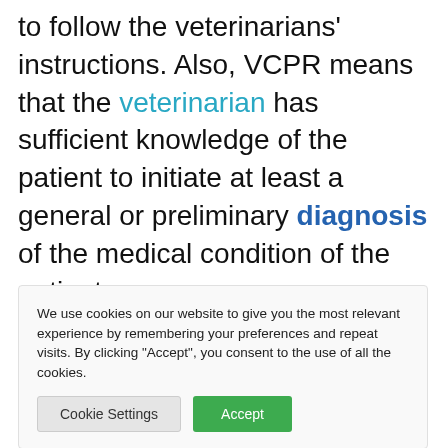to follow the veterinarians' instructions. Also, VCPR means that the veterinarian has sufficient knowledge of the patient to initiate at least a general or preliminary diagnosis of the medical condition of the patient.
We use cookies on our website to give you the most relevant experience by remembering your preferences and repeat visits. By clicking "Accept", you consent to the use of all the cookies.
en further for follow- t r ge. We to nother
(partial bottom text)